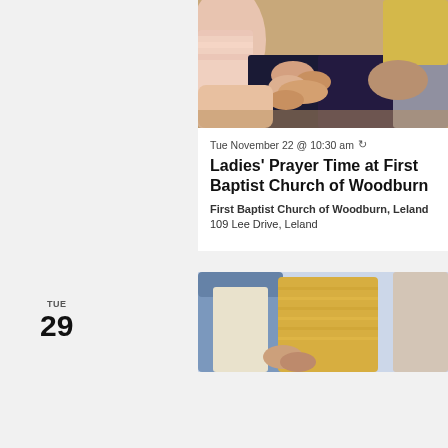[Figure (photo): People sitting in a circle holding hands, prayer group, close-up of laps and hands]
Tue November 22 @ 10:30 am ↻
Ladies' Prayer Time at First Baptist Church of Woodburn
First Baptist Church of Woodburn, Leland 109 Lee Drive, Leland
TUE 29
[Figure (photo): Two women sitting together, one in a yellow sweater, prayer or fellowship group]